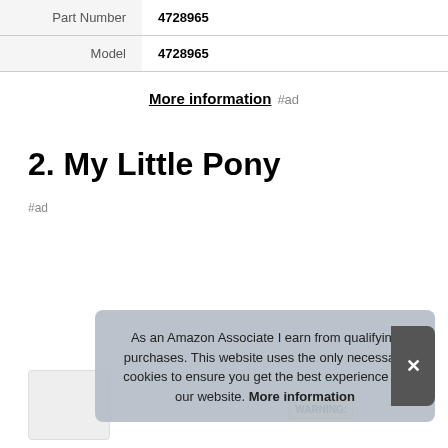|  |  |
| --- | --- |
| Part Number | 4728965 |
| Model | 4728965 |
More information #ad
2. My Little Pony
#ad
As an Amazon Associate I earn from qualifying purchases. This website uses the only necessary cookies to ensure you get the best experience on our website. More information